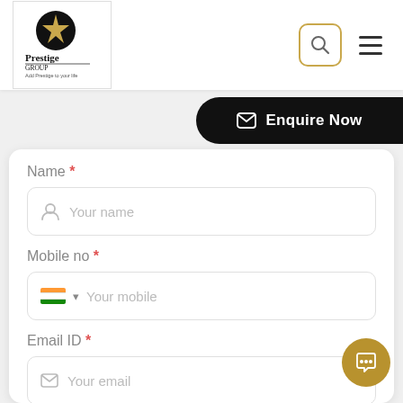[Figure (logo): Prestige Group logo — black circle with gold star, text 'Prestige GROUP Add Prestige to your life']
[Figure (infographic): Search icon in gold-bordered rounded square button and hamburger menu icon]
[Figure (infographic): Black pill-shaped 'Enquire Now' button with envelope icon]
Name *
Your name
Mobile no *
Your mobile
Email ID *
Your email
How did you know about us? *
Select the source